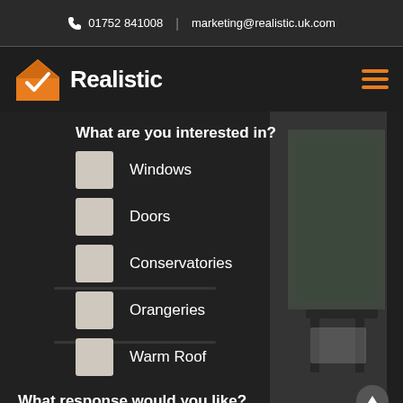01752 841008 | marketing@realistic.uk.com
[Figure (logo): Realistic logo with orange house checkmark icon and white bold text 'Realistic']
What are you interested in?
Windows
Doors
Conservatories
Orangeries
Warm Roof
What response would you like?